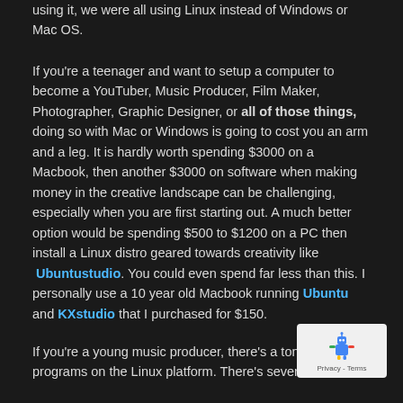using it, we were all using Linux instead of Windows or Mac OS.
If you're a teenager and want to setup a computer to become a YouTuber, Music Producer, Film Maker, Photographer, Graphic Designer, or all of those things, doing so with Mac or Windows is going to cost you an arm and a leg. It is hardly worth spending $3000 on a Macbook, then another $3000 on software when making money in the creative landscape can be challenging, especially when you are first starting out. A much better option would be spending $500 to $1200 on a PC then install a Linux distro geared towards creativity like Ubuntustudio. You could even spend far less than this. I personally use a 10 year old Macbook running Ubuntu and KXstudio that I purchased for $150.
If you're a young music producer, there's a ton of great programs on the Linux platform. There's several DAW...
[Figure (other): reCAPTCHA widget showing a robot icon with 'Privacy - Terms' text on a light gray background]